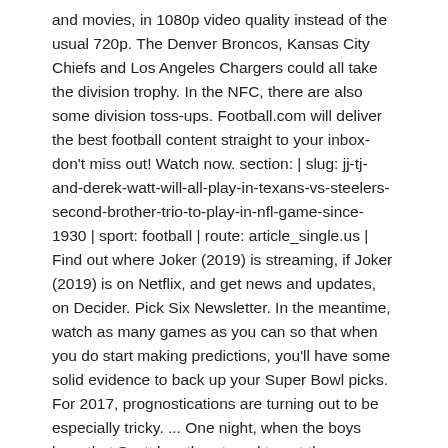and movies, in 1080p video quality instead of the usual 720p. The Denver Broncos, Kansas City Chiefs and Los Angeles Chargers could all take the division trophy. In the NFC, there are also some division toss-ups. Football.com will deliver the best football content straight to your inbox-don't miss out! Watch now. section: | slug: jj-tj-and-derek-watt-will-all-play-in-texans-vs-steelers-second-brother-trio-to-play-in-nfl-game-since-1930 | sport: football | route: article_single.us | Find out where Joker (2019) is streaming, if Joker (2019) is on Netflix, and get news and updates, on Decider. Pick Six Newsletter. In the meantime, watch as many games as you can so that when you do start making predictions, you'll have some solid evidence to back up your Super Bowl picks. For 2017, prognostications are turning out to be especially tricky. ... One night, when the boys hear that Scott has threatened to get the axe again, the brothers carry out an attack on Scott, brutally murdering him. Available on DVD and Blu-ray in stores and online throughout New England, now! where can i watch step brothers online for free |where can i watch step brothers online for free. Smoother sporting action: 6 Sky Sports channels – Main Event, Premier League, F1, Football, Cricket and Golf – are available at … Live Match Churchill Brothers vs Shillong Lajong I-League Football Streaming Online The match between Churchill Brothers and Shillong Lajong FC is going to be held in Dular Stadium, Goa. Band of Bearded Brothers is